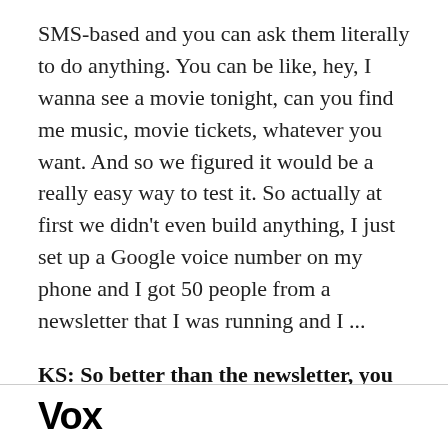SMS-based and you can ask them literally to do anything. You can be like, hey, I wanna see a movie tonight, can you find me music, movie tickets, whatever you want. And so we figured it would be a really easy way to test it. So actually at first we didn't even build anything, I just set up a Google voice number on my phone and I got 50 people from a newsletter that I was running and I ...
KS: So better than the newsletter, you had more engagement, is what you're saying?
RH: Absolutely. The first experiment was basically covering a Republican debate via text message, so I
Vox